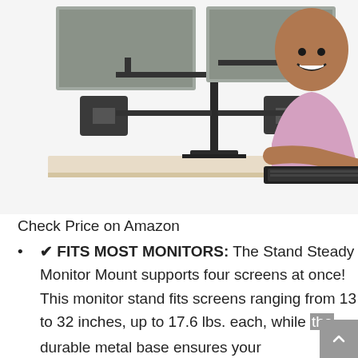[Figure (photo): A quad monitor mount stand holding four grey screens, with a smiling man in a pink shirt working at a desk with a keyboard and mouse]
Check Price on Amazon
✔ FITS MOST MONITORS: The Stand Steady Monitor Mount supports four screens at once! This monitor stand fits screens ranging from 13 to 32 inches, up to 17.6 lbs. each, while the durable metal base ensures your